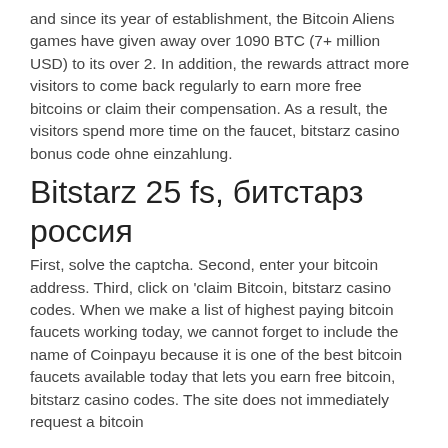and since its year of establishment, the Bitcoin Aliens games have given away over 1090 BTC (7+ million USD) to its over 2. In addition, the rewards attract more visitors to come back regularly to earn more free bitcoins or claim their compensation. As a result, the visitors spend more time on the faucet, bitstarz casino bonus code ohne einzahlung.
Bitstarz 25 fs, битстарз россия
First, solve the captcha. Second, enter your bitcoin address. Third, click on 'claim Bitcoin, bitstarz casino codes. When we make a list of highest paying bitcoin faucets working today, we cannot forget to include the name of Coinpayu because it is one of the best bitcoin faucets available today that lets you earn free bitcoin, bitstarz casino codes. The site does not immediately request a bitcoin